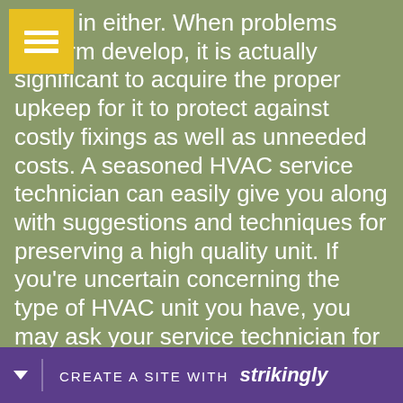occur in either. When problems perform develop, it is actually significant to acquire the proper upkeep for it to protect against costly fixings as well as unneeded costs. A seasoned HVAC service technician can easily give you along with suggestions and techniques for preserving a high quality unit. If you're uncertain concerning the type of HVAC unit you have, you may ask your service technician for advice.

The most effective means to keep relaxed in the summertime is actually to create certain your HVAC device is performing correctly. It's essential to make sure your HVAC is functioning
[Figure (other): Yellow hamburger menu icon (three horizontal white lines on yellow background) in top-left corner]
[Figure (logo): Purple Strikingly banner at bottom: arrow icon, divider, 'CREATE A SITE WITH strikingly' text]